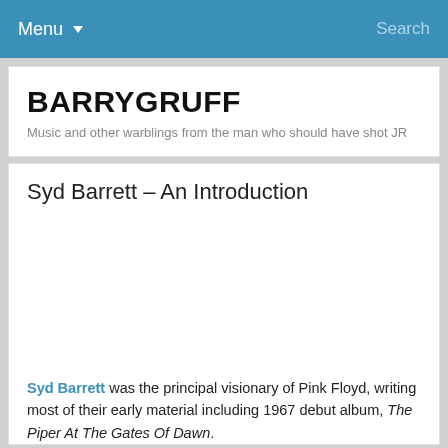Menu  Search
BARRYGRUFF
Music and other warblings from the man who should have shot JR
Syd Barrett – An Introduction
Syd Barrett was the principal visionary of Pink Floyd, writing most of their early material including 1967 debut album, The Piper At The Gates Of Dawn.